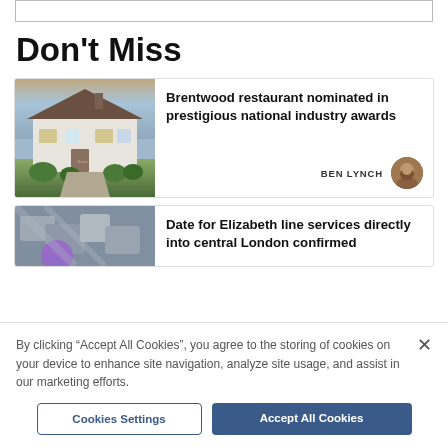Don't Miss
[Figure (photo): Photo of a white country house restaurant building with a sign reading 'Alexis', manicured shrubs, driveway, at dusk/sunset]
Brentwood restaurant nominated in prestigious national industry awards
BEN LYNCH
[Figure (photo): Partial photo showing grey modern chairs/furniture outdoors, with purple element visible]
Date for Elizabeth line services directly into central London confirmed
By clicking "Accept All Cookies", you agree to the storing of cookies on your device to enhance site navigation, analyze site usage, and assist in our marketing efforts.
Cookies Settings
Accept All Cookies